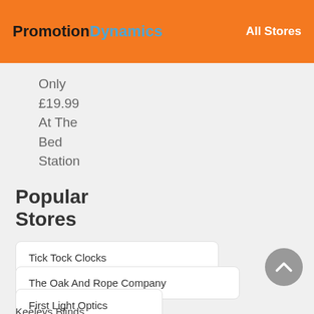PromotionDynamics   All Stores
Only £19.99 At The Bed Station
Popular Stores
Tick Tock Clocks
The Oak And Rope Company
First Light Optics
Keeleys Blinds